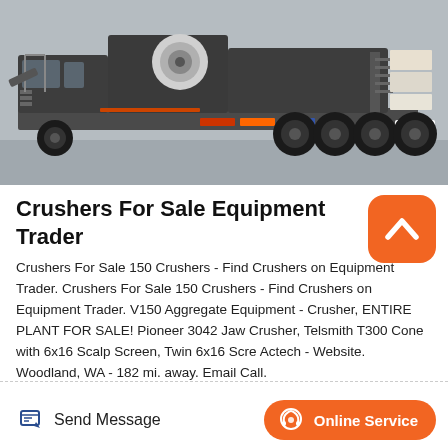[Figure (photo): A large mobile crusher machine on a truck/trailer platform, photographed outdoors in front of a warehouse. The machine is dark grey with orange and blue accent colors on conveyor belts. Multiple wheels and mechanical components are visible.]
Crushers For Sale Equipment Trader
Crushers For Sale 150 Crushers - Find Crushers on Equipment Trader. Crushers For Sale 150 Crushers - Find Crushers on Equipment Trader. V150 Aggregate Equipment - Crusher, ENTIRE PLANT FOR SALE! Pioneer 3042 Jaw Crusher, Telsmith T300 Cone with 6x16 Scalp Screen, Twin 6x16 Scre Actech - Website. Woodland, WA - 182 mi. away. Email Call.